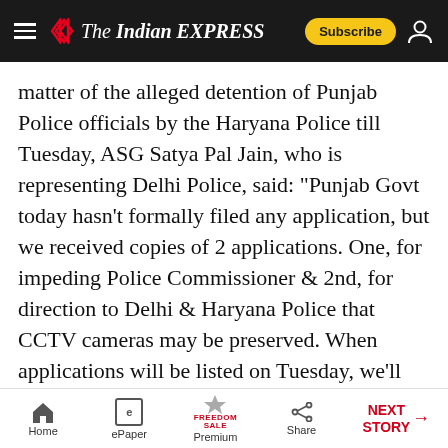The Indian Express — Subscribe
matter of the alleged detention of Punjab Police officials by the Haryana Police till Tuesday, ASG Satya Pal Jain, who is representing Delhi Police, said: "Punjab Govt today hasn't formally filed any application, but we received copies of 2 applications. One, for impeding Police Commissioner & 2nd, for direction to Delhi & Haryana Police that CCTV cameras may be preserved. When applications will be listed on Tuesday, we'll reply."
13:29 (IST)
07 MAY 2022
Home | ePaper | Premium | Share | NEXT STORY